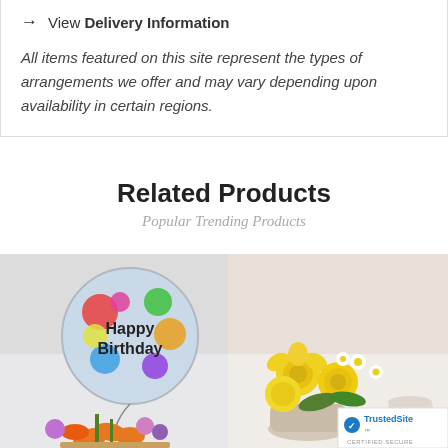→ View Delivery Information
All items featured on this site represent the types of arrangements we offer and may vary depending upon availability in certain regions.
Related Products
Popular Trending Products
[Figure (photo): Floral arrangement with a Happy Birthday helium balloon and orange lilies, pink and purple flowers in a basket]
[Figure (photo): Yellow roses and white daisy floral arrangement with a TrustedSite Certified Secure badge in the corner]